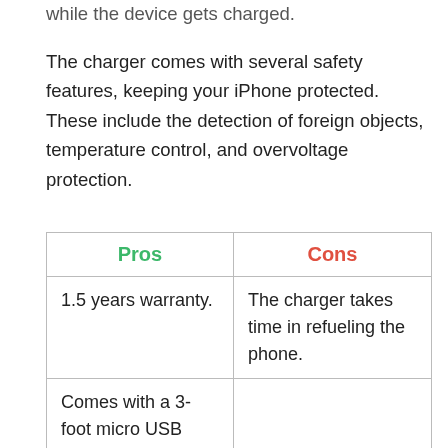while the device gets charged.
The charger comes with several safety features, keeping your iPhone protected. These include the detection of foreign objects, temperature control, and overvoltage protection.
| Pros | Cons |
| --- | --- |
| 1.5 years warranty. | The charger takes time in refueling the phone. |
| Comes with a 3-foot micro USB cable. |  |
| Good protection. |  |